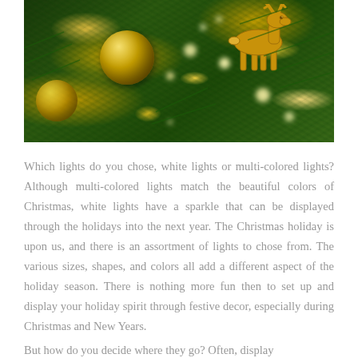[Figure (photo): Close-up photograph of a decorated Christmas tree with golden ornament balls, lights (bokeh effect), and a golden reindeer figurine among green pine branches]
Which lights do you chose, white lights or multi-colored lights? Although multi-colored lights match the beautiful colors of Christmas, white lights have a sparkle that can be displayed through the holidays into the next year. The Christmas holiday is upon us, and there is an assortment of lights to chose from. The various sizes, shapes, and colors all add a different aspect of the holiday season. There is nothing more fun then to set up and display your holiday spirit through festive decor, especially during Christmas and New Years.
But how do you decide where they go? Often, display...